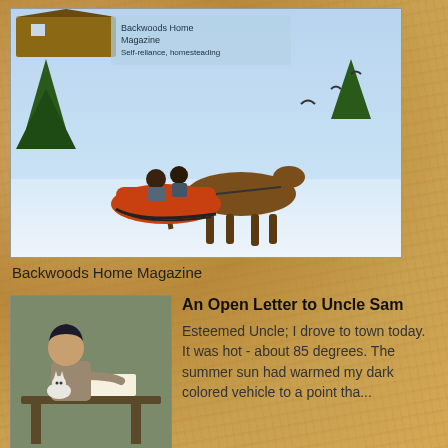[Figure (illustration): Backwoods Home Magazine cover showing a horse-drawn sleigh in a winter snow scene with passengers, a log cabin in background, trees, and birds.]
Backwoods Home Magazine
[Figure (illustration): Vintage painting-style illustration of a woman writing at a desk with a cat beside her.]
An Open Letter to Uncle Sam
Esteemed Uncle; I drove to town today.  It was hot - about 85 degrees. The summer sun had warmed my dark colored vehicle to a point tha...
[Figure (photo): Black and white photograph of the James Washer, a manual clothes washing machine on legs.]
Equipment Review - The James Washer
** * ** When we first moved into our "shouse", one of my greatest challenges was laundry.  We had no running water, drains or el...